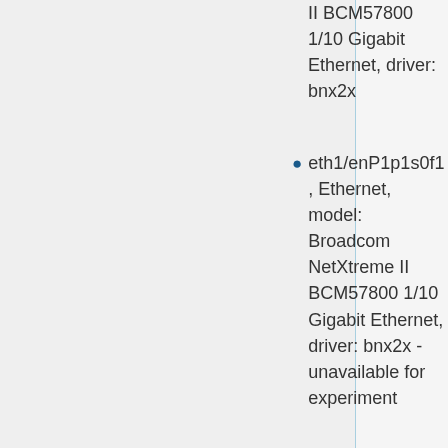II BCM57800 1/10 Gigabit Ethernet, driver: bnx2x
eth1/enP1p1s0f1, Ethernet, model: Broadcom NetXtreme II BCM57800 1/10 Gigabit Ethernet, driver: bnx2x - unavailable for experiment
eth2/enP1p1s0f2, Ethernet, model: Broadcom NetXtreme II BCM57800 1/10 Gigabit Ethernet, driver: bnx2x - unavailable for experiment
eth3/enP1p1s0f3,